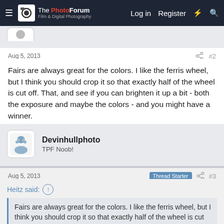The PhotoForum — Log in  Register
Aug 5, 2013  #2
Fairs are always great for the colors. I like the ferris wheel, but I think you should crop it so that exactly half of the wheel is cut off. That, and see if you can brighten it up a bit - both the exposure and maybe the colors - and you might have a winner.
Devinhullphoto
TPF Noob!
Aug 5, 2013  Thread Starter  #3
Heitz said:
Fairs are always great for the colors. I like the ferris wheel, but I think you should crop it so that exactly half of the wheel is cut off. That,